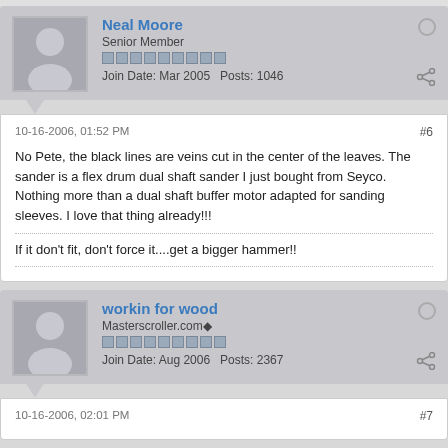Neal Moore
Senior Member
Join Date: Mar 2005   Posts: 1046
10-16-2006, 01:52 PM
#6
No Pete, the black lines are veins cut in the center of the leaves. The sander is a flex drum dual shaft sander I just bought from Seyco. Nothing more than a dual shaft buffer motor adapted for sanding sleeves. I love that thing already!!!
If it don't fit, don't force it....get a bigger hammer!!
workin for wood
Masterscroller.com◆
Join Date: Aug 2006   Posts: 2367
10-16-2006, 02:01 PM
#7